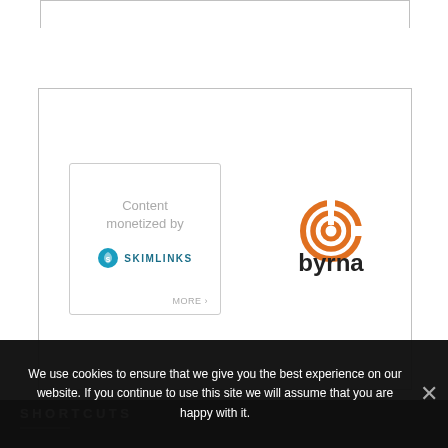[Figure (other): Top white bordered box (partial)]
[Figure (other): Advertisement box containing Skimlinks 'Content monetized by' card on left and Byrna logo on right]
SHORTCUTS
We use cookies to ensure that we give you the best experience on our website. If you continue to use this site we will assume that you are happy with it.